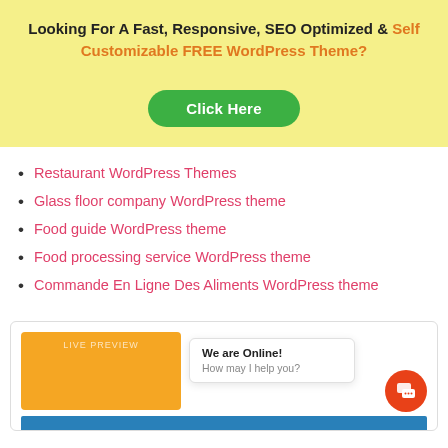Looking For A Fast, Responsive, SEO Optimized & Self Customizable FREE WordPress Theme?
[Figure (other): Green 'Click Here' button]
Restaurant WordPress Themes
Glass floor company WordPress theme
Food guide WordPress theme
Food processing service WordPress theme
Commande En Ligne Des Aliments WordPress theme
[Figure (screenshot): Live preview box showing a chat popup with 'We are Online! How may I help you?' and an orange chat button]